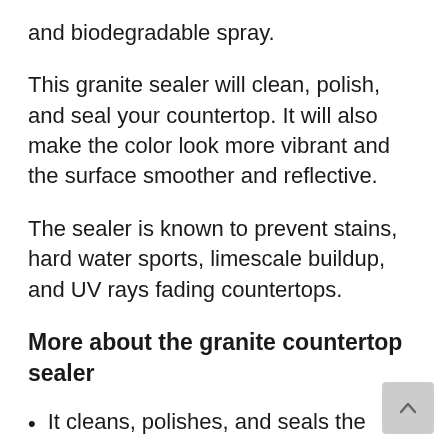and biodegradable spray.
This granite sealer will clean, polish, and seal your countertop. It will also make the color look more vibrant and the surface smoother and reflective.
The sealer is known to prevent stains, hard water sports, limescale buildup, and UV rays fading countertops.
More about the granite countertop sealer
It cleans, polishes, and seals the